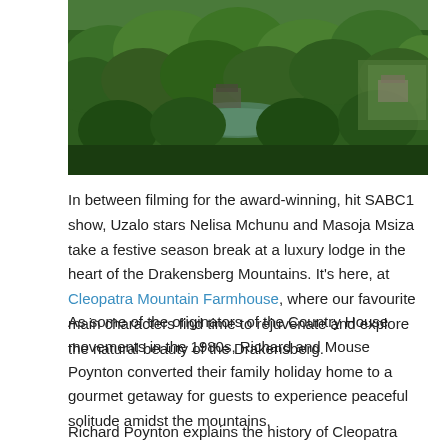[Figure (photo): Aerial photograph of a lush green forested landscape with trees, a body of water or reflective surface, and structures partially visible among the canopy. Likely the Drakensberg Mountains area near Cleopatra Mountain Farmhouse.]
In between filming for the award-winning, hit SABC1 show, Uzalo stars Nelisa Mchunu and Masoja Msiza take a festive season break at a luxury lodge in the heart of the Drakensberg Mountains. It's here, at Cleopatra Mountain Farmhouse, where our favourite main characters find time to rejuvenate and explore the natural beauty of the Drakensberg.
As some of the originators of the Country House movements in the 1980s, Richard and Mouse Poynton converted their family holiday home to a gourmet getaway for guests to experience peaceful solitude amidst the mountains.
Richard Poynton explains the history of Cleopatra saying, "It